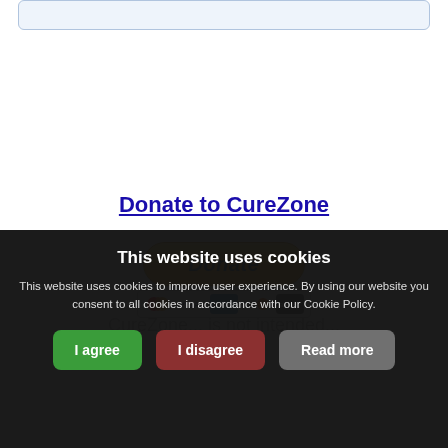[Figure (screenshot): Top portion of a rounded light-blue input/search box]
Donate to CureZone
[Figure (screenshot): PayPal Donate button (yellow/gold rounded rectangle) with payment card icons (Mastercard, Visa, Amex, Discover, Bank) below]
This website uses cookies
This website uses cookies to improve user experience. By using our website you consent to all cookies in accordance with our Cookie Policy.
I agree
I disagree
Read more